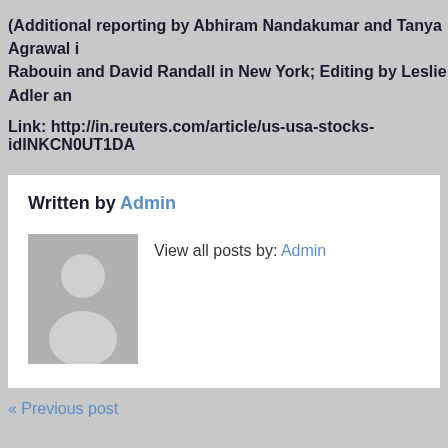(Additional reporting by Abhiram Nandakumar and Tanya Agrawal in Rabouin and David Randall in New York; Editing by Leslie Adler an
Link: http://in.reuters.com/article/us-usa-stocks-idINKCN0UT1DA
Written by Admin
[Figure (illustration): Generic user avatar placeholder image showing silhouette of a person on grey background]
View all posts by: Admin
« Previous post